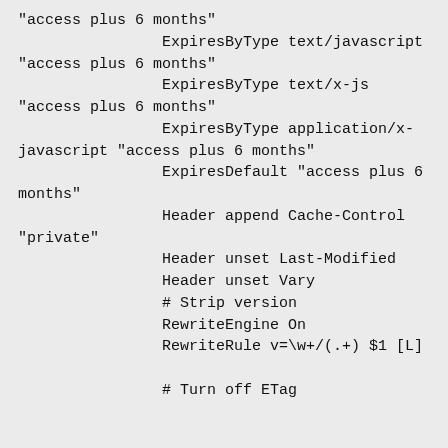"access plus 6 months"
                ExpiresByType text/javascript "access plus 6 months"
                ExpiresByType text/x-js "access plus 6 months"
                ExpiresByType application/x-javascript "access plus 6 months"
                ExpiresDefault "access plus 6 months"
                Header append Cache-Control "private"
                Header unset Last-Modified
                Header unset Vary
                # Strip version
                RewriteEngine On
                RewriteRule v=\w+/(.+) $1 [L]
                # Turn off ETag